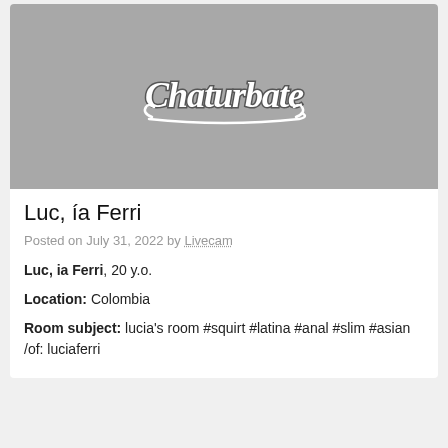[Figure (screenshot): Chaturbate logo on grey background]
Luc, ía Ferri
Posted on July 31, 2022 by Livecam
Luc, ia Ferri, 20 y.o.
Location: Colombia
Room subject: lucia's room #squirt #latina #anal #slim #asian /of: luciaferri